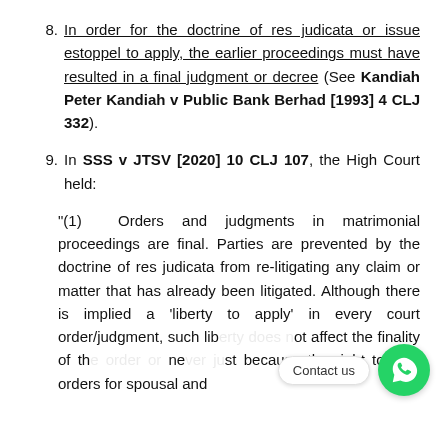8. In order for the doctrine of res judicata or issue estoppel to apply, the earlier proceedings must have resulted in a final judgment or decree (See Kandiah Peter Kandiah v Public Bank Berhad [1993] 4 CLJ 332).
9. In SSS v JTSV [2020] 10 CLJ 107, the High Court held:
"(1) Orders and judgments in matrimonial proceedings are final. Parties are prevented by the doctrine of res judicata from re-litigating any claim or matter that has already been litigated. Although there is implied a 'liberty to apply' in every court order/judgment, such liberty does not affect the finality of the order or judgment because the right to vary orders for spousal and